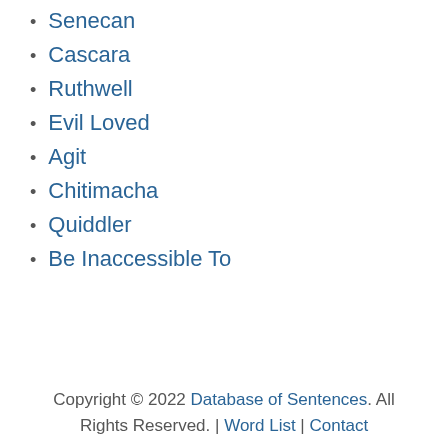Senecan
Cascara
Ruthwell
Evil Loved
Agit
Chitimacha
Quiddler
Be Inaccessible To
Copyright © 2022 Database of Sentences. All Rights Reserved. | Word List | Contact